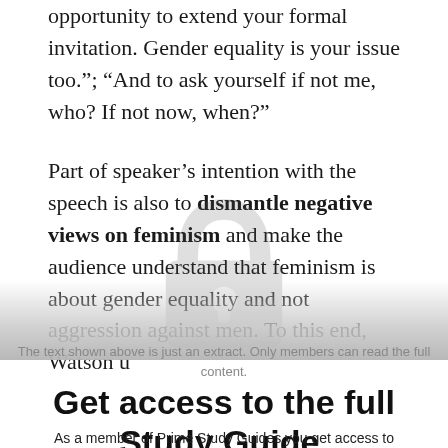opportunity to extend your formal invitation. Gender equality is your issue too."; "And to ask yourself if not me, who? If not now, when?"
Part of speaker’s intention with the speech is also to dismantle negative views on feminism and make the audience understand that feminism is about gender equality and not aggression against men. To this end, Watson u
The text shown above is just an extract. Only members can read the full content.
Get access to the full Study Guide.
As a member of Prime Study Guides you get access to...